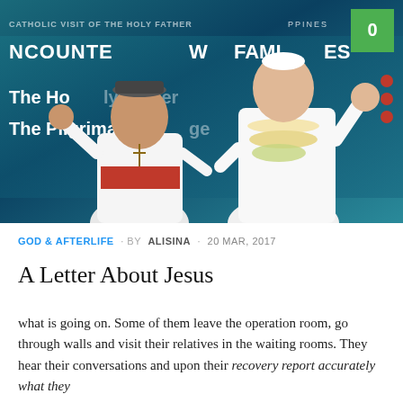[Figure (photo): Two men on stage — a Catholic cardinal in white and red vestments making a hand gesture, and Pope Francis in white papal robes and flower garland — against a blue banner reading 'ENCOUNTER WITH FAMILIES' / 'The Holy Father' / 'The Pilgrimage'. A green badge with '0' appears in the top-right corner.]
GOD & AFTERLIFE · BY ALISINA · 20 MAR, 2017
A Letter About Jesus
what is going on. Some of them leave the operation room, go through walls and visit their relatives in the waiting rooms. They hear their conversations and upon their recovery report accurately what they